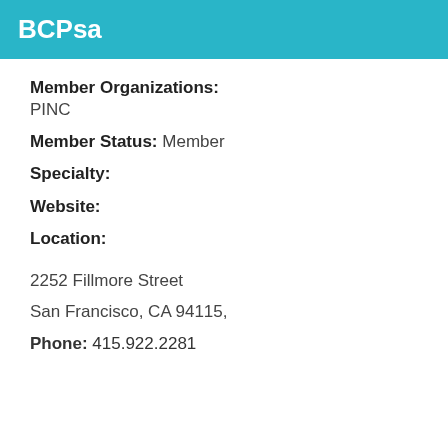BCPsa
Member Organizations: PINC
Member Status: Member
Specialty:
Website:
Location:
2252 Fillmore Street
San Francisco, CA 94115,
Phone: 415.922.2281